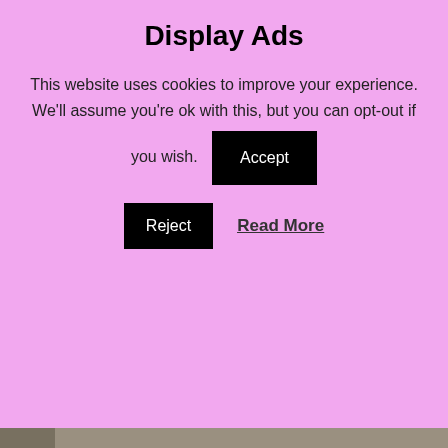Display Ads
This website uses cookies to improve your experience. We'll assume you're ok with this, but you can opt-out if you wish.
[Figure (screenshot): Cookie consent dialog with pink background, Accept/Reject/Read More buttons, overlaid on a recipe photo showing 'Cheese Cookies (from a cake mix)' text in red on a white label against a stone background, with heart and share action buttons, a What's Next panel showing Double Chocolate... thumbnail, a black ad bar, and an Alzheimer's Association banner ad at the bottom reading "It's time to talk about Alzheimer's." with a Learn More button.]